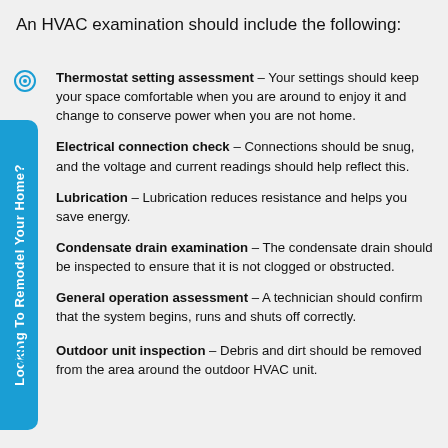An HVAC examination should include the following:
Thermostat setting assessment – Your settings should keep your space comfortable when you are around to enjoy it and change to conserve power when you are not home.
Electrical connection check – Connections should be snug, and the voltage and current readings should help reflect this.
Lubrication – Lubrication reduces resistance and helps you save energy.
Condensate drain examination – The condensate drain should be inspected to ensure that it is not clogged or obstructed.
General operation assessment – A technician should confirm that the system begins, runs and shuts off correctly.
Outdoor unit inspection – Debris and dirt should be removed from the area around the outdoor HVAC unit.